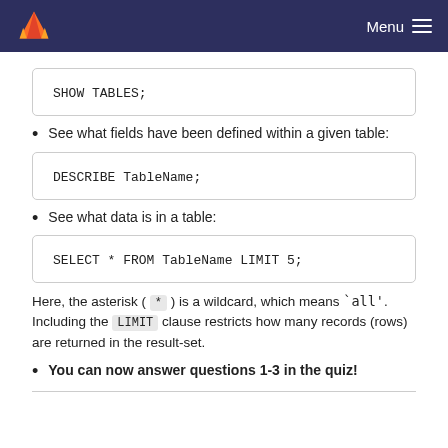Menu
See what fields have been defined within a given table:
See what data is in a table:
Here, the asterisk ( * ) is a wildcard, which means `all'. Including the LIMIT clause restricts how many records (rows) are returned in the result-set.
You can now answer questions 1-3 in the quiz!